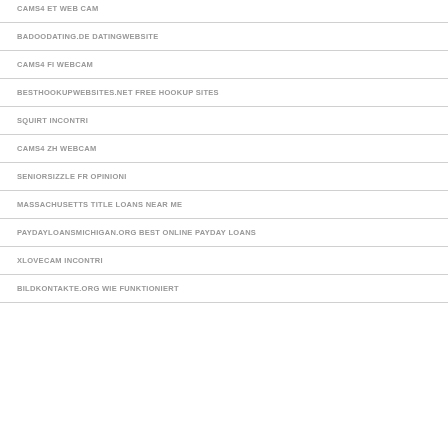CAMS4 ET WEB CAM
BADOODATING.DE DATINGWEBSITE
CAMS4 FI WEBCAM
BESTHOOKUPWEBSITES.NET FREE HOOKUP SITES
SQUIRT INCONTRI
CAMS4 ZH WEBCAM
SENIORSIZZLE FR OPINIONI
MASSACHUSETTS TITLE LOANS NEAR ME
PAYDAYLOANSMICHIGAN.ORG BEST ONLINE PAYDAY LOANS
XLOVECAM INCONTRI
BILDKONTAKTE.ORG WIE FUNKTIONIERT